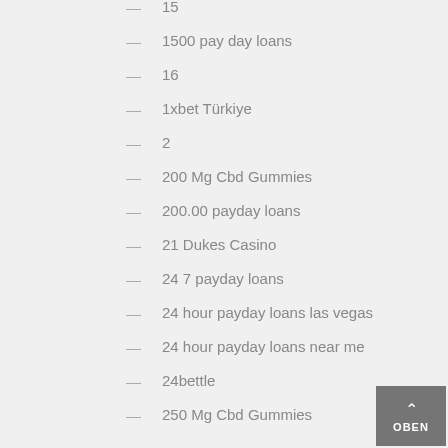— 15
— 1500 pay day loans
— 16
— 1xbet Türkiye
— 2
— 200 Mg Cbd Gummies
— 200.00 payday loans
— 21 Dukes Casino
— 24 7 payday loans
— 24 hour payday loans las vegas
— 24 hour payday loans near me
— 24bettle
— 250 Mg Cbd Gummies